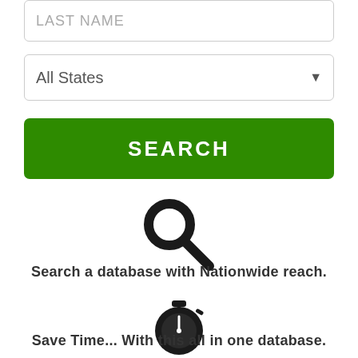[Figure (screenshot): Input field with placeholder text LAST NAME]
[Figure (screenshot): Dropdown select field showing All States with arrow]
[Figure (screenshot): Green SEARCH button]
[Figure (illustration): Magnifying glass search icon]
Search a database with Nationwide reach.
[Figure (illustration): Stopwatch / timer icon]
Save Time... With this all in one database.